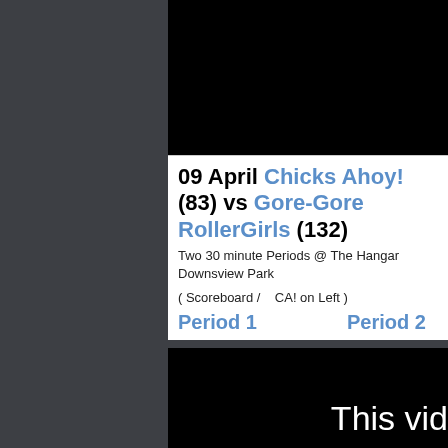[Figure (screenshot): Black video player area at top right]
09 April Chicks Ahoy! (83) vs Gore-Gore RollerGirls (132)
Two 30 minute Periods @ The Hangar Downsview Park
( Scoreboard /    CA! on Left )
Period 1    Period 2
[Figure (screenshot): Black video player area at bottom with 'This vid' text visible]